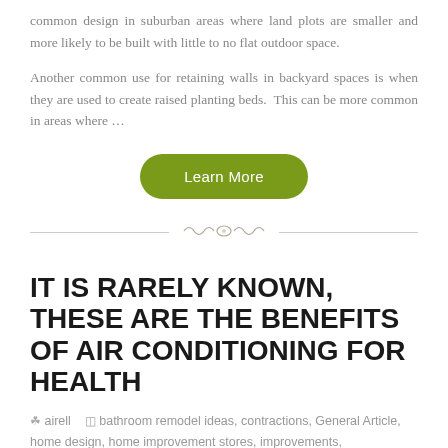common design in suburban areas where land plots are smaller and more likely to be built with little to no flat outdoor space.
Another common use for retaining walls in backyard spaces is when they are used to create raised planting beds.  This can be more common in areas where …
[Figure (other): Green rounded button labeled 'Learn More']
[Figure (other): Decorative divider with ornamental scroll design between two horizontal lines]
IT IS RARELY KNOWN, THESE ARE THE BENEFITS OF AIR CONDITIONING FOR HEALTH
airell   bathroom remodel ideas, contractions, General Article, home design, home improvement stores, improvements,